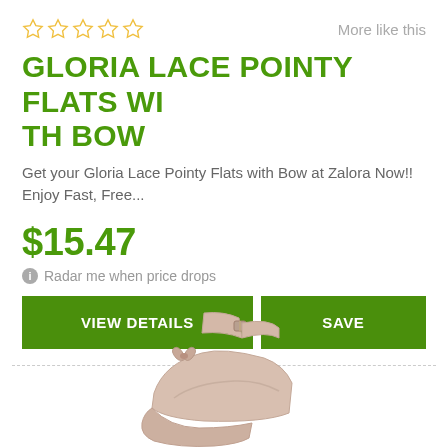[Figure (other): Five empty gold star rating icons in a row]
More like this
GLORIA LACE POINTY FLATS WITH BOW
Get your Gloria Lace Pointy Flats with Bow at Zalora Now!! Enjoy Fast, Free...
$15.47
Radar me when price drops
VIEW DETAILS
SAVE
[Figure (photo): Photo of a pink/beige flat shoe with bow at bottom of page]